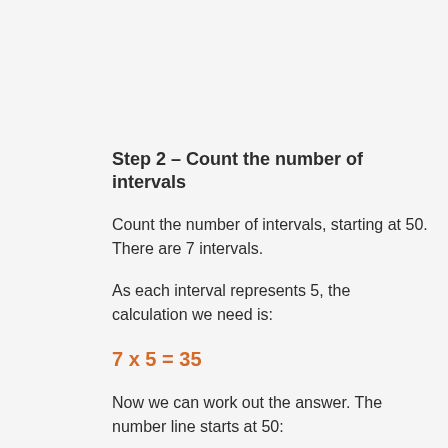Step 2 – Count the number of intervals
Count the number of intervals, starting at 50. There are 7 intervals.
As each interval represents 5, the calculation we need is:
Now we can work out the answer. The number line starts at 50:
We can double check by counting 7 intervals from 50 on the number line. The arrow reaches